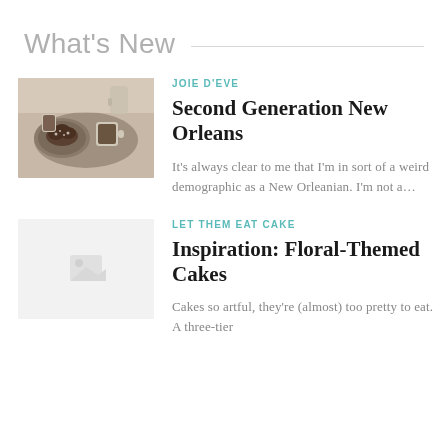What's New
JOIE D'EVE
Second Generation New Orleans
It's always clear to me that I'm in sort of a weird demographic as a New Orleanian.  I'm not a…
LET THEM EAT CAKE
Inspiration: Floral-Themed Cakes
Cakes so artful, they're (almost) too pretty to eat.    A three-tier